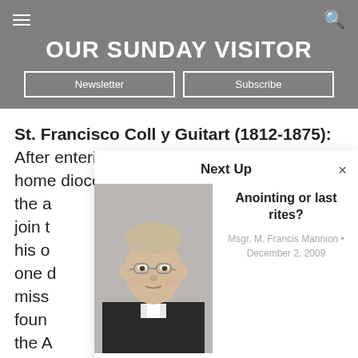OUR SUNDAY VISITOR
St. Francisco Coll y Guitart (1812-1875): After entering the minor seminary in his home diocese at the a join t his o one d miss foun the A
[Figure (screenshot): Next Up popup panel showing article 'Anointing or last rites?' by Msgr. M. Francis Mannion, December 2, 2009, with a photo of a priest wearing glasses]
Anointing or last rites?
Msgr. M. Francis Mannion · December 2, 2009